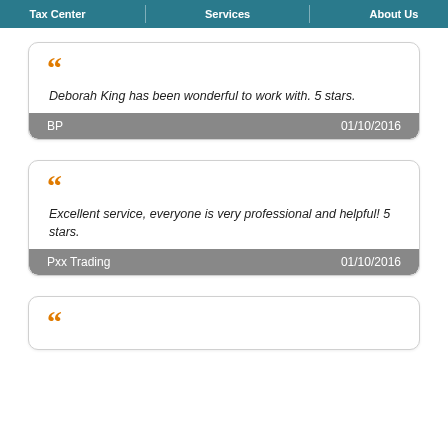Tax Center | Services | About Us
Deborah King has been wonderful to work with. 5 stars. — BP, 01/10/2016
Excellent service, everyone is very professional and helpful! 5 stars. — Pxx Trading, 01/10/2016